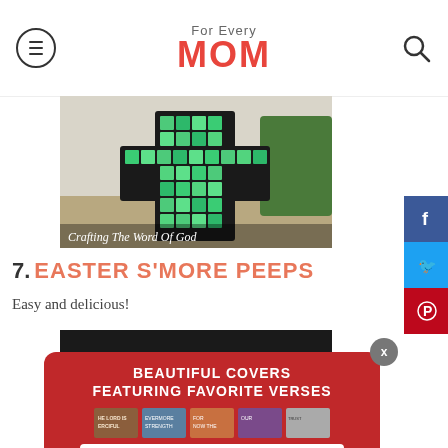For Every MOM
[Figure (photo): Green mosaic cross craft hanging outdoors, with caption 'Crafting The Word Of God']
7. EASTER S'MORE PEEPS
Easy and delicious!
[Figure (photo): Dark background with Bible verse book covers advertisement: BEAUTIFUL COVERS FEATURING FAVORITE VERSES, EXPLORE NOW button]
[Figure (infographic): Social share buttons: Facebook, Twitter, Pinterest on right side]